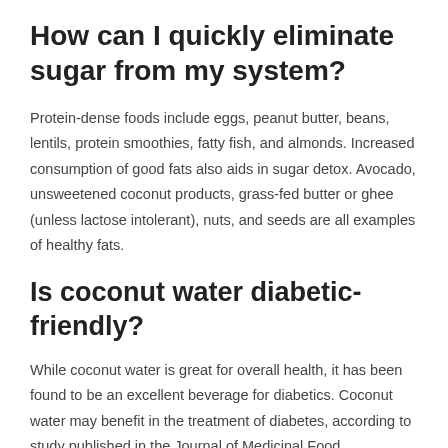How can I quickly eliminate sugar from my system?
Protein-dense foods include eggs, peanut butter, beans, lentils, protein smoothies, fatty fish, and almonds. Increased consumption of good fats also aids in sugar detox. Avocado, unsweetened coconut products, grass-fed butter or ghee (unless lactose intolerant), nuts, and seeds are all examples of healthy fats.
Is coconut water diabetic-friendly?
While coconut water is great for overall health, it has been found to be an excellent beverage for diabetics. Coconut water may benefit in the treatment of diabetes, according to study published in the Journal of Medicinal Food.
How can I rapidly reduce my A1c?